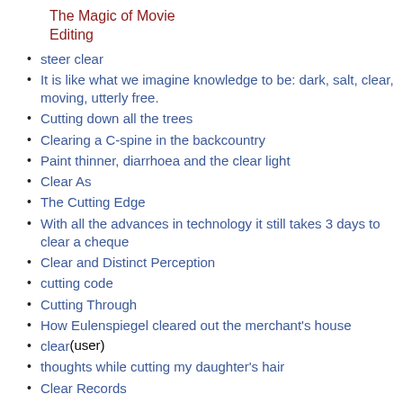The Magic of Movie Editing
steer clear
It is like what we imagine knowledge to be: dark, salt, clear, moving, utterly free.
Cutting down all the trees
Clearing a C-spine in the backcountry
Paint thinner, diarrhoea and the clear light
Clear As
The Cutting Edge
With all the advances in technology it still takes 3 days to clear a cheque
Clear and Distinct Perception
cutting code
Cutting Through
How Eulenspiegel cleared out the merchant's house
clear (user)
thoughts while cutting my daughter's hair
Clear Records